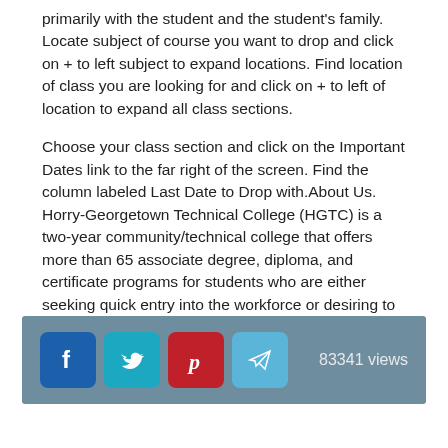primarily with the student and the student's family. Locate subject of course you want to drop and click on + to left subject to expand locations. Find location of class you are looking for and click on + to left of location to expand all class sections.
Choose your class section and click on the Important Dates link to the far right of the screen. Find the column labeled Last Date to Drop with.About Us. Horry-Georgetown Technical College (HGTC) is a two-year community/technical college that offers more than 65 associate degree, diploma, and certificate programs for students who are either seeking quick entry into the workforce or desiring to transfer to a senior institution to pursue a bachelor's degree.
[Figure (infographic): Footer bar with social media icons (Facebook, Twitter, Pinterest, Telegram) and view count '83341 views']